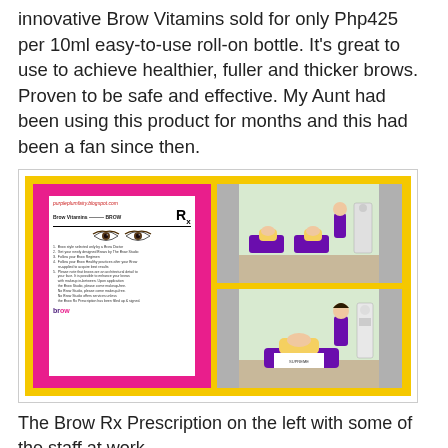innovative Brow Vitamins sold for only Php425 per 10ml easy-to-use roll-on bottle. It's great to use to achieve healthier, fuller and thicker brows. Proven to be safe and effective. My Aunt had been using this product for months and this had been a fan since then.
[Figure (photo): Collage of photos: left side shows a Brow Rx Prescription card held up against a pink background with the website purpleplumfairy.blogspot.com, the card shows drawn eyebrows and Rx symbol; right side shows two photos of people receiving brow treatments at a salon, with staff in purple uniforms.]
The Brow Rx Prescription on the left with some of the staff at work.